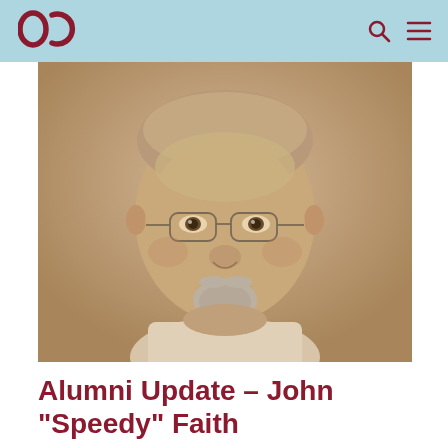OC
[Figure (photo): Black and white portrait photo of a middle-aged man with short gray hair, glasses, and a goatee, wearing a light-colored collared shirt. The photo has a sepia/warm tone.]
Alumni Update - John "Speedy" Faith